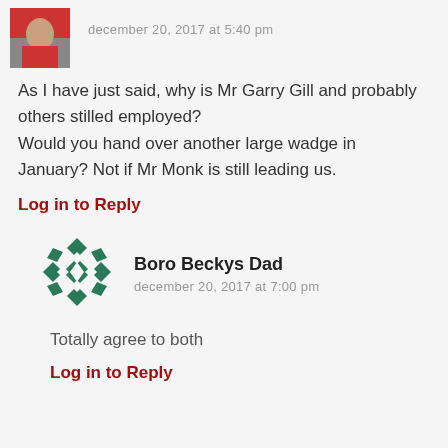[Figure (photo): Small avatar photo showing a person in red clothing, partially cropped]
december 20, 2017 at 5:40 pm
As I have just said, why is Mr Garry Gill and probably others stilled employed? Would you hand over another large wadge in January? Not if Mr Monk is still leading us.
Log in to Reply
[Figure (logo): Green geometric snowflake/star pattern avatar icon for Boro Beckys Dad]
Boro Beckys Dad
december 20, 2017 at 7:00 pm
Totally agree to both
Log in to Reply